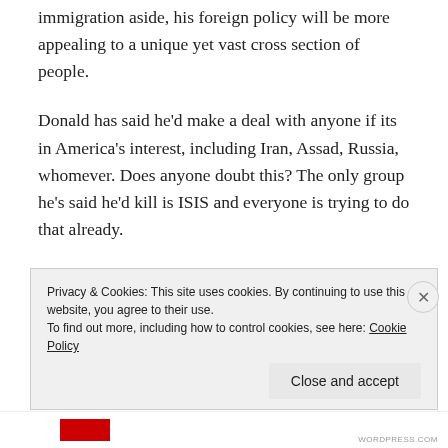immigration aside, his foreign policy will be more appealing to a unique yet vast cross section of people.
Donald has said he'd make a deal with anyone if its in America's interest, including Iran, Assad, Russia, whomever. Does anyone doubt this? The only group he's said he'd kill is ISIS and everyone is trying to do that already.
Donald said the Iraq war was a mistake and only a moron or liar cannot see this. Meanwhile Hillary voted for the authorization of the use of force in Iraq.  I am
Privacy & Cookies: This site uses cookies. By continuing to use this website, you agree to their use.
To find out more, including how to control cookies, see here: Cookie Policy